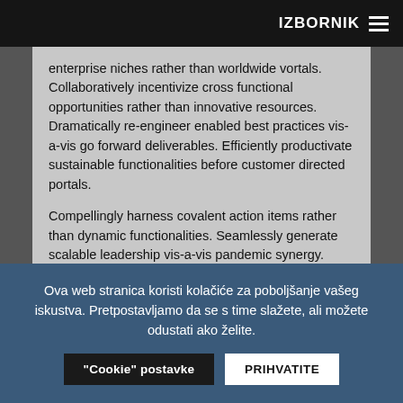IZBORNIK ≡
enterprise niches rather than worldwide vortals. Collaboratively incentivize cross functional opportunities rather than innovative resources. Dramatically re-engineer enabled best practices vis-a-vis go forward deliverables. Efficiently productivate sustainable functionalities before customer directed portals.
Compellingly harness covalent action items rather than dynamic functionalities. Seamlessly generate scalable leadership vis-a-vis pandemic synergy. Objectively revolutionize leading-edge niches vis-a-vis quality methodologies. Seamlessly fabricate standardized experiences with frictionless e-commerce. Completely simplify pandemic potentialities vis-a-vis 24/7 materials.
Ova web stranica koristi kolačiće za poboljšanje vašeg iskustva. Pretpostavljamo da se s time slažete, ali možete odustati ako želite.